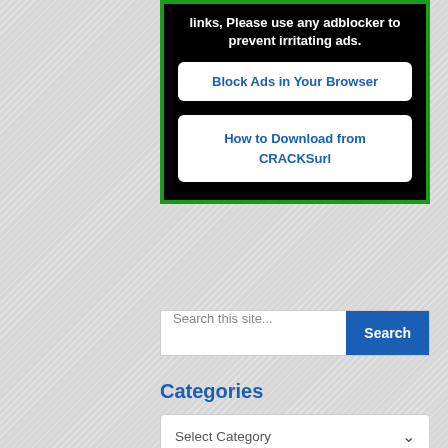links, Please use any adblocker to prevent irritating ads.
Block Ads in Your Browser
How to Download from CRACKSurl
Search this site...
Categories
Select Category
Follow Us